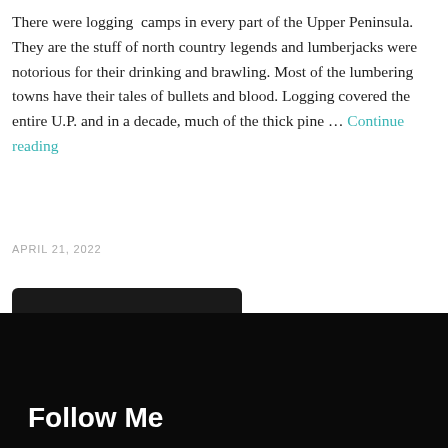There were logging camps in every part of the Upper Peninsula. They are the stuff of north country legends and lumberjacks were notorious for their drinking and brawling. Most of the lumbering towns have their tales of bullets and blood. Logging covered the entire U.P. and in a decade, much of the thick pine … Continue reading
APRIL 21, 2022
Load more posts
Follow Me